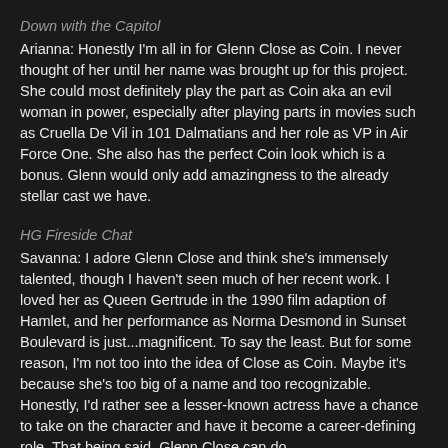Down with the Capitol
Arianna: Honestly I'm all in for Glenn Close as Coin. I never thought of her until her name was brought up for this project. She could most definitely play the part as Coin aka an evil woman in power, especially after playing parts in movies such as Cruella De Vil in 101 Dalmatians and her role as VP in Air Force One. She also has the perfect Coin look which is a bonus. Glenn would only add amazingness to the already stellar cast we have.
HG Fireside Chat
Savanna: I adore Glenn Close and think she's immensely talented, though I haven't seen much of her recent work. I loved her as Queen Gertrude in the 1990 film adaption of Hamlet, and her performance as Norma Desmond in Sunset Boulevard is just...magnificent. To say the least. But for some reason, I'm not too into the idea of Close as Coin. Maybe it's because she's too big of a name and too recognizable. Honestly, I'd rather see a lesser-known actress have a chance to take on the character and have it become a career-defining role. That being said, Glenn Close can do